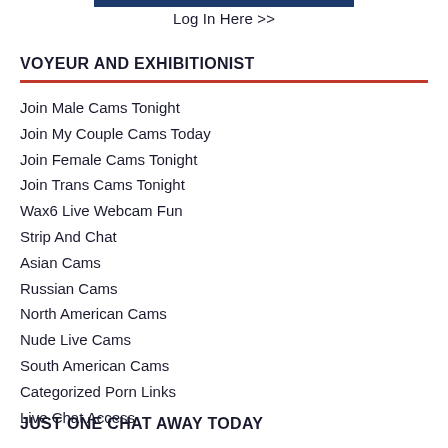Log In Here >>
VOYEUR AND EXHIBITIONIST
Join Male Cams Tonight
Join My Couple Cams Today
Join Female Cams Tonight
Join Trans Cams Tonight
Wax6 Live Webcam Fun
Strip And Chat
Asian Cams
Russian Cams
North American Cams
Nude Live Cams
South American Cams
Categorized Porn Links
Live Chat Access
JUST ONE CHAT AWAY TODAY